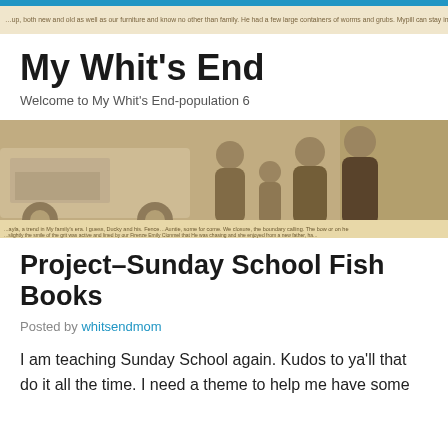My Whit's End - blog header strip with scrolling text
My Whit's End
Welcome to My Whit's End-population 6
[Figure (photo): Sepia-toned family photo showing a group of people including adults and children standing in front of a white truck, with text overlay strips above and below the photo]
Project–Sunday School Fish Books
Posted by whitsendmom
I am teaching Sunday School again.  Kudos to ya'll that do it all the time.  I need a theme to help me have some